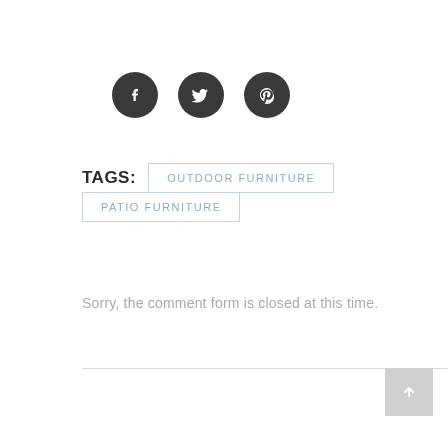[Figure (infographic): Three social media icons (Facebook, Twitter, Pinterest) as dark circular buttons]
TAGS: OUTDOOR FURNITURE PATIO FURNITURE
Sorry, the comment form is closed at this time.